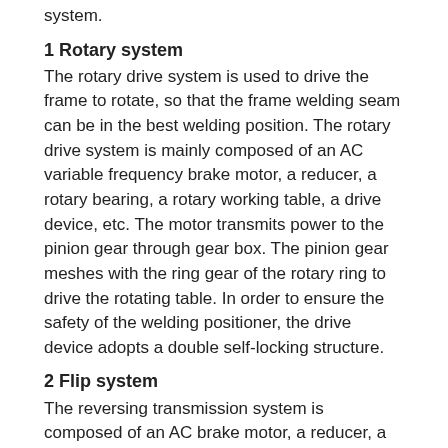system.
1 Rotary system
The rotary drive system is used to drive the frame to rotate, so that the frame welding seam can be in the best welding position. The rotary drive system is mainly composed of an AC variable frequency brake motor, a reducer, a rotary bearing, a rotary working table, a drive device, etc. The motor transmits power to the pinion gear through gear box. The pinion gear meshes with the ring gear of the rotary ring to drive the rotating table. In order to ensure the safety of the welding positioner, the drive device adopts a double self-locking structure.
2 Flip system
The reversing transmission system is composed of an AC brake motor, a reducer, a rotary bearing, and a drive pinion. The motor has function of braking. And the gear box is a worm gear structure. They form a double insurance for braking. The turning and lifting movements are driven by AC frequency conversion brake motor. The reversing action is controlled by PLC signals. The rack can be turned over when there's a certain height from